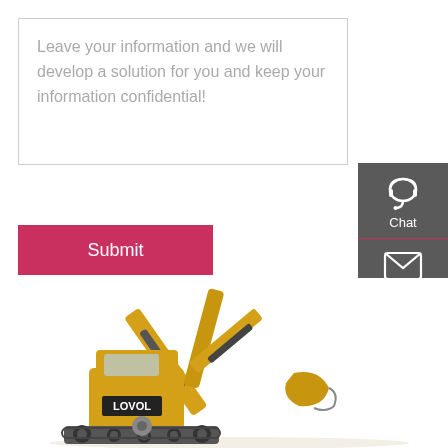Leave your information and we will develop a solution for you and keep your information confidential!
Submit
[Figure (illustration): Sidebar panel with Chat, Email, and Contact icons on dark grey background]
[Figure (photo): Lovol excavator arm shown at bottom of page, yellow construction equipment]